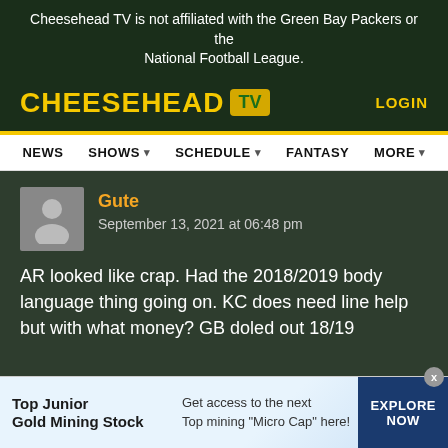Cheesehead TV is not affiliated with the Green Bay Packers or the National Football League.
[Figure (logo): Cheesehead TV logo with yellow text and TV icon, green background, with LOGIN link]
[Figure (screenshot): Navigation bar with NEWS, SHOWS, SCHEDULE, FANTASY, MORE menu items]
Gute
September 13, 2021 at 06:48 pm
AR looked like crap. Had the 2018/2019 body language thing going on. KC does need line help but with what money? GB doled out 18/19
[Figure (infographic): Advertisement banner: Top Junior Gold Mining Stock - Get access to the next Top mining "Micro Cap" here! EXPLORE NOW]